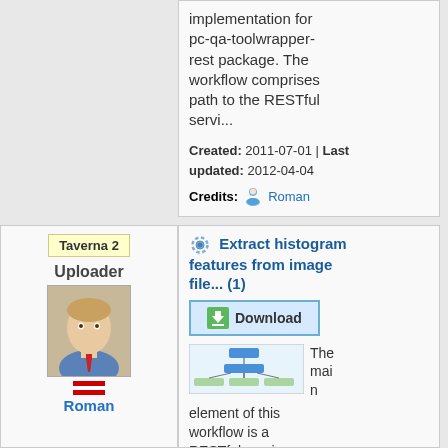implementation for pc-qa-toolwrapper-rest package. The workflow comprises path to the RESTful servi...
Created: 2011-07-01 | Last updated: 2012-04-04
Credits: Roman
Taverna 2
Uploader
Roman
Extract histogram features from image file... (1)
Download
The main element of this workflow is a RESTful service designed in the SCARE QA...
[Figure (screenshot): Workflow diagram thumbnail showing a flowchart with blue boxes and arrows]